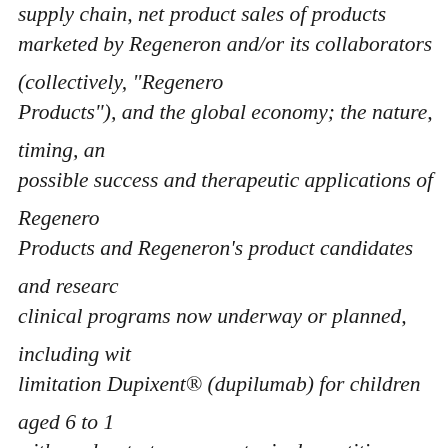supply chain, net product sales of products marketed by Regeneron and/or its collaborators (collectively, "Regeneron Products"), and the global economy; the nature, timing, and possible success and therapeutic applications of Regeneron Products and Regeneron's product candidates and research and clinical programs now underway or planned, including without limitation Dupixent® (dupilumab) for children aged 6 to 11 with moderate-to-severe atopic dermatitis; uncertainty of market acceptance and commercial success of Regeneron's Products, product candidates and the impact of studies (whether conducted by Regeneron or others and whether mandated or voluntary) on the commercial success of Regeneron's Products and product candidates; the likelihood, timing, and scope of possible regulatory approval and commercial launch of Regeneron's product candidates and new indications for Regeneron's Products, such as dupilumab for the treatment of pediatric asthma, pediatric atopic dermatitis, eosinophilic esophagitis, chronic obstructive pulmonary disease, bullous pemphigoid, prurigo nodularis, chronic spontaneous urticaria, food and environmental allergies, and other potential indications (as